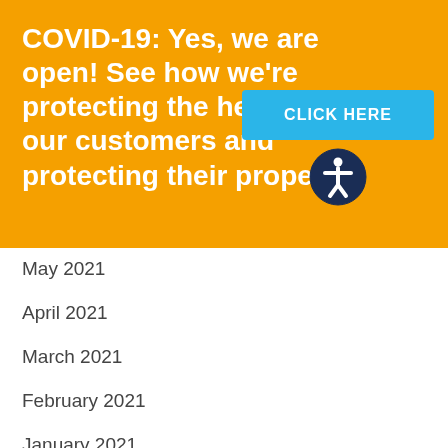COVID-19: Yes, we are open! See how we're protecting the health of our customers and protecting their property.
[Figure (infographic): Orange banner with COVID-19 message, a blue 'CLICK HERE' button, and a dark navy accessibility icon with a person symbol.]
May 2021
April 2021
March 2021
February 2021
January 2021
December 2020
November 2020
October 2020